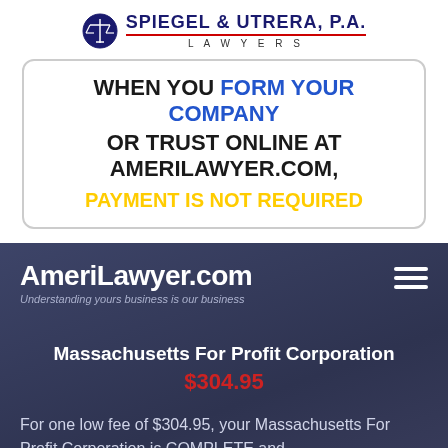[Figure (logo): Spiegel & Utrera, P.A. Lawyers logo with scales of justice icon]
WHEN YOU FORM YOUR COMPANY OR TRUST ONLINE AT AMERILAWYER.COM, PAYMENT IS NOT REQUIRED
[Figure (screenshot): AmeriLawyer.com website header with dark blue background, site title, tagline 'Understanding yours business is our business', hamburger menu icon, Massachusetts For Profit Corporation listing at $304.95, and description text 'For one low fee of $304.95, your Massachusetts For Profit Corporation is COMPLETE and']